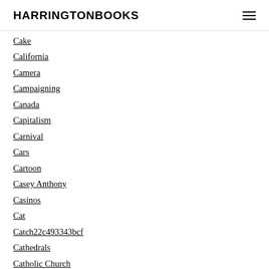HARRINGTONBOOKS
Cake
California
Camera
Campaigning
Canada
Capitalism
Carnival
Cars
Cartoon
Casey Anthony
Casinos
Cat
Catch22c493343bcf
Cathedrals
Catholic Church
Catholics
Cats